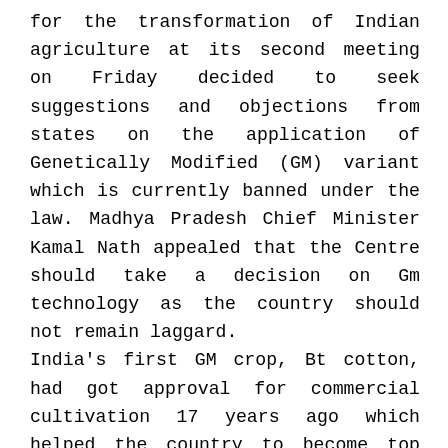for the transformation of Indian agriculture at its second meeting on Friday decided to seek suggestions and objections from states on the application of Genetically Modified (GM) variant which is currently banned under the law. Madhya Pradesh Chief Minister Kamal Nath appealed that the Centre should take a decision on Gm technology as the country should not remain laggard.
India's first GM crop, Bt cotton, had got approval for commercial cultivation 17 years ago which helped the country to become top grower and exporter of cotton from the net importer. The high power committee's move deserves importance especially when farmers from Maharashtra and Haryana recently took a decision to grow unapproved Bt cotton even at the risk of facing legal action.
Fadnavis, who was accompanied by the union agriculture minister Naresh Tomar and Niti Aayog